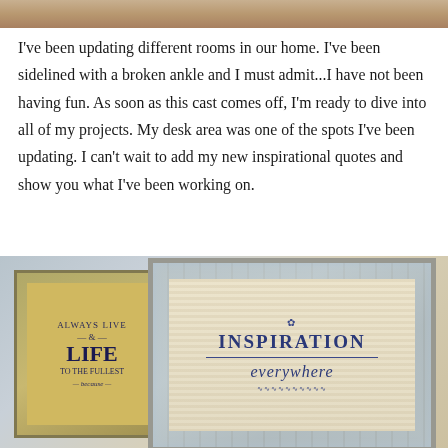[Figure (photo): Partial top edge of a photo showing a warm-toned surface]
I've been updating different rooms in our home. I've been sidelined with a broken ankle and I must admit...I have not been having fun. As soon as this cast comes off, I'm ready to dive into all of my projects. My desk area was one of the spots I've been updating. I can't wait to add my new inspirational quotes and show you what I've been working on.
[Figure (photo): Two decorative frames with inspirational quotes. Left frame shows 'LIFE' text on golden background. Right frame has a mosaic silver border with 'INSPIRATION everywhere' printed on burlap-style background.]